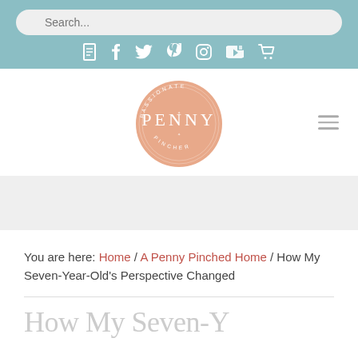Search... [search bar with social icons: blog, facebook, twitter, pinterest, instagram, youtube, cart]
[Figure (logo): Passionate Penny Pincher circular logo in peach/salmon color with white text]
[Figure (other): Gray banner/advertisement area]
You are here: Home / A Penny Pinched Home / How My Seven-Year-Old's Perspective Changed
How My Seven-Y...